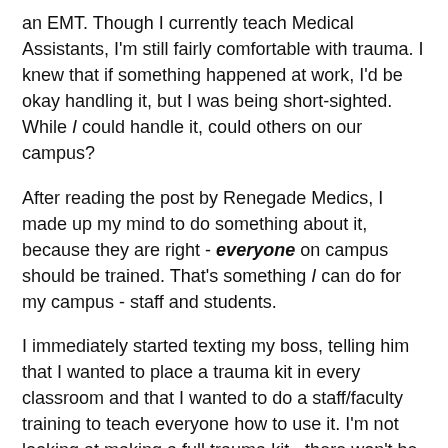an EMT. Though I currently teach Medical Assistants, I'm still fairly comfortable with trauma. I knew that if something happened at work, I'd be okay handling it, but I was being short-sighted. While I could handle it, could others on our campus?
After reading the post by Renegade Medics, I made up my mind to do something about it, because they are right - everyone on campus should be trained. That's something I can do for my campus - staff and students.
I immediately started texting my boss, telling him that I wanted to place a trauma kit in every classroom and that I wanted to do a staff/faculty training to teach everyone how to use it. I'm not looking at making a full trauma kit - there won't be any IV bags, trach kits, etc. It will be a very basic, oh shit bag, with TQs, chest seals, and packing gauze. You know, basically what I carry in my IFAK. One in every classroom, with all staff/faculty members trained will go a long way toward saving lives.
I know, after every big tragedy, we look around and ask,